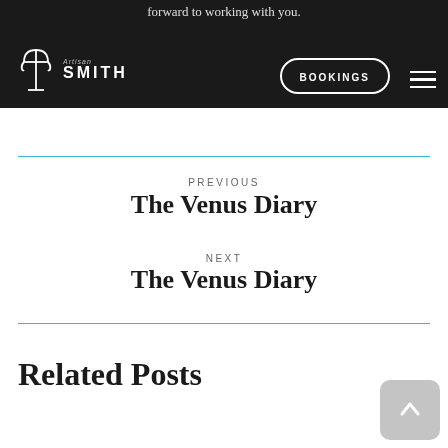forward to working with you. BOOKINGS [menu]
PREVIOUS
The Venus Diary
NEXT
The Venus Diary
Related Posts